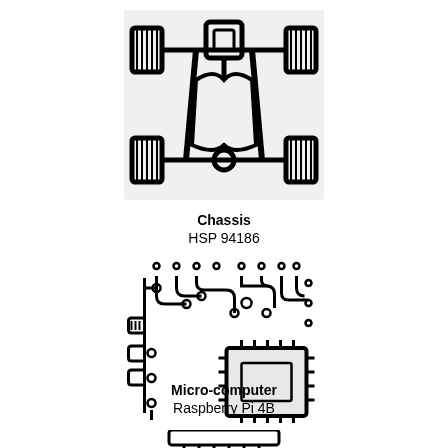[Figure (schematic): Top-view icon of a 4-wheeled robot chassis (HSP 94186) showing frame, wheels, and axles in black line art on a light gray background square.]
Chassis
HSP 94186
[Figure (schematic): Icon of a printed circuit board / microcomputer with circuit traces, pads, and an IC chip, representing Raspberry Pi 4B, black line art on white background.]
Micro-computer
Raspberry Pi 4B
[Figure (schematic): Partial icon at bottom of page, cut off — appears to be another hardware component.]